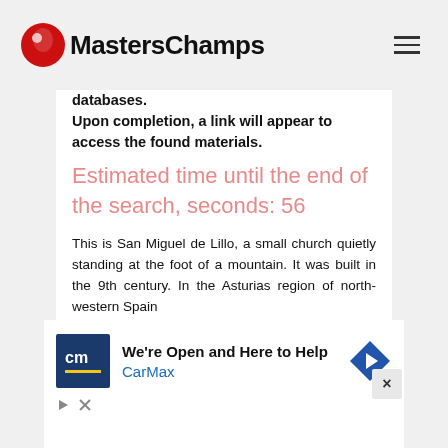MastersChamps
databases. Upon completion, a link will appear to access the found materials.
Estimated time until the end of the search, seconds: 56
This is San Miguel de Lillo, a small church quietly standing at the foot of a mountain. It was built in the 9th century. In the Asturias region of north-western Spain
[Figure (other): CarMax advertisement banner: We're Open and Here to Help]